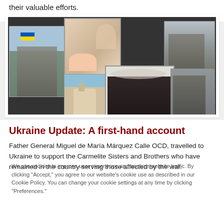their valuable efforts.
[Figure (photo): Collage of photos related to Ukraine: damaged buildings with Ukrainian flag, medical/aid workers, destroyed structures, a church, Carmelite Sisters in habits, and more war-damaged buildings.]
Ukraine Update: A first-hand account
Father General Miguel de María Márquez Calle OCD, travelled to Ukraine to support the Carmelite Sisters and Brothers who have remained in the country serving those affected by the war.